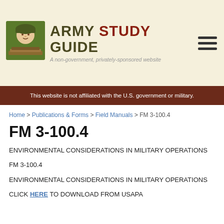[Figure (logo): Army Study Guide logo with soldier illustration and stacked books icon on green/olive square background]
ARMY STUDY GUIDE
A non-government, privately-sponsored website
This website is not affiliated with the U.S. government or military.
Home > Publications & Forms > Field Manuals > FM 3-100.4
FM 3-100.4
ENVIRONMENTAL CONSIDERATIONS IN MILITARY OPERATIONS
FM 3-100.4
ENVIRONMENTAL CONSIDERATIONS IN MILITARY OPERATIONS
CLICK HERE TO DOWNLOAD FROM USAPA